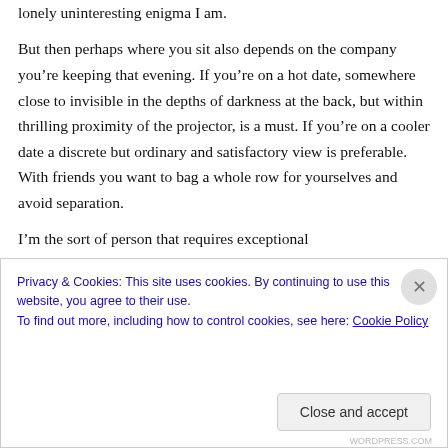lonely uninteresting enigma I am.
But then perhaps where you sit also depends on the company you’re keeping that evening. If you’re on a hot date, somewhere close to invisible in the depths of darkness at the back, but within thrilling proximity of the projector, is a must. If you’re on a cooler date a discrete but ordinary and satisfactory view is preferable. With friends you want to bag a whole row for yourselves and avoid separation.
I’m the sort of person that requires exceptional
Privacy & Cookies: This site uses cookies. By continuing to use this website, you agree to their use.
To find out more, including how to control cookies, see here: Cookie Policy
Close and accept